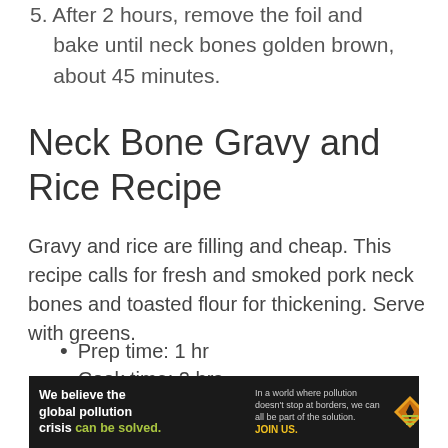5. After 2 hours, remove the foil and bake until neck bones golden brown, about 45 minutes.
Neck Bone Gravy and Rice Recipe
Gravy and rice are filling and cheap. This recipe calls for fresh and smoked pork neck bones and toasted flour for thickening. Serve with greens.
Prep time: 1 hr
Cook time: 2 hrs
Serves: 8
[Figure (infographic): Pure Earth advertisement banner: 'We believe the global pollution crisis can be solved.' with tagline about pollution and JOIN US call to action, Pure Earth logo on right.]